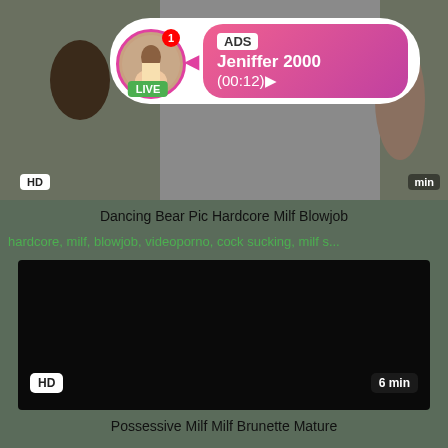[Figure (screenshot): Top video thumbnail showing blurred people in background, with HD badge and time badge]
[Figure (infographic): Ad overlay popup with circular avatar photo of woman, LIVE badge, notification badge, arrow, pink gradient box showing ADS label, Jeniffer 2000 name, and (00:12) timer]
Dancing Bear Pic Hardcore Milf Blowjob
hardcore, milf, blowjob, videoporno, cock sucking, milf s...
[Figure (screenshot): Black video player area for second video]
HD
6 min
Possessive Milf Milf Brunette Mature